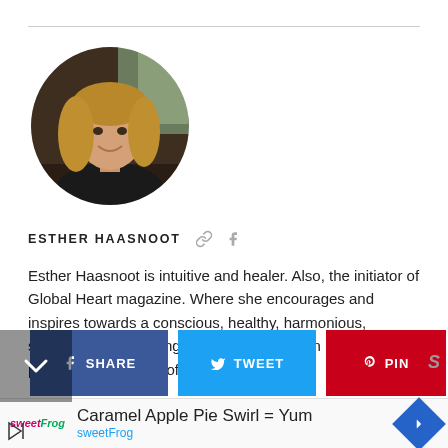[Figure (photo): Circular portrait photo of Esther Haasnoot, a woman with blonde hair, smiling, seated at a desk indoors]
ESTHER HAASNOOT  🔗  f
Esther Haasnoot is intuitive and healer. Also, the initiator of Global Heart magazine. Where she encourages and inspires towards a conscious, healthy, harmonious, sustainable, and loving society. To create an uplifting and positive future for all of us.
[Figure (other): Social share buttons: SHARE (Facebook, dark blue), TWEET (Twitter, light blue), PIN (Pinterest, dark red). A scroll indicator chevron on the left.]
[Figure (other): Advertisement banner: sweetFrog logo, text 'Caramel Apple Pie Swirl = Yum', 'sweetFrog' in teal, navigation icon on right, play/skip icon bottom left]